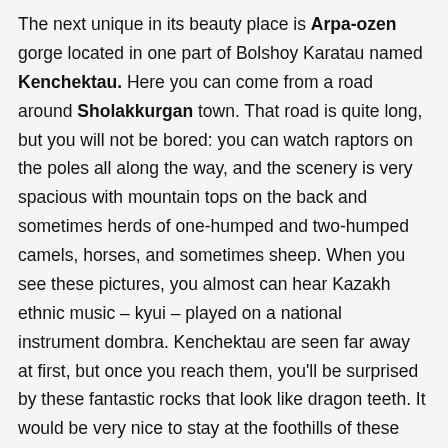The next unique in its beauty place is Arpa-ozen gorge located in one part of Bolshoy Karatau named Kenchektau. Here you can come from a road around Sholakkurgan town. That road is quite long, but you will not be bored: you can watch raptors on the poles all along the way, and the scenery is very spacious with mountain tops on the back and sometimes herds of one-humped and two-humped camels, horses, and sometimes sheep. When you see these pictures, you almost can hear Kazakh ethnic music – kyui – played on a national instrument dombra. Kenchektau are seen far away at first, but once you reach them, you'll be surprised by these fantastic rocks that look like dragon teeth. It would be very nice to stay at the foothills of these mountains and dedicate the whole next day to observation of Griffon